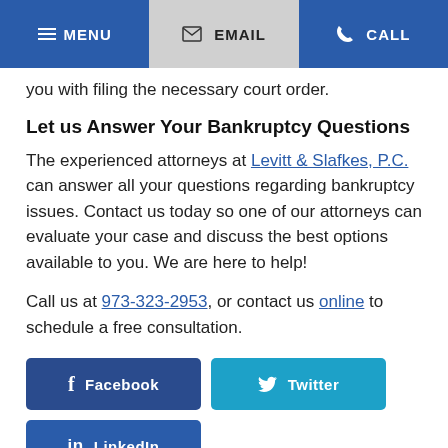MENU   EMAIL   CALL
you with filing the necessary court order.
Let us Answer Your Bankruptcy Questions
The experienced attorneys at Levitt & Slafkes, P.C. can answer all your questions regarding bankruptcy issues. Contact us today so one of our attorneys can evaluate your case and discuss the best options available to you. We are here to help!
Call us at 973-323-2953, or contact us online to schedule a free consultation.
[Figure (other): Social media buttons: Facebook, Twitter, LinkedIn]